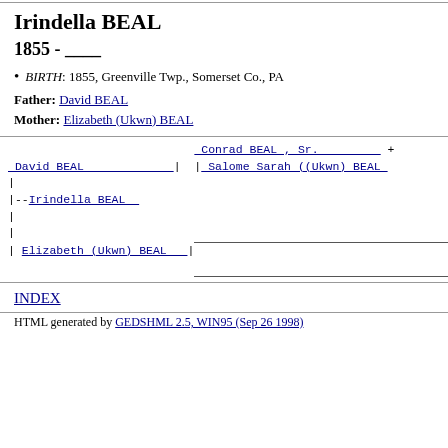Irindella BEAL
1855 - ____
BIRTH: 1855, Greenville Twp., Somerset Co., PA
Father: David BEAL
Mother: Elizabeth (Ukwn) BEAL
[Figure (other): Genealogy pedigree chart showing David BEAL linked to Conrad BEAL Sr. and Salome Sarah ((Ukwn) BEAL, with Irindella BEAL and Elizabeth (Ukwn) BEAL as children nodes]
INDEX
HTML generated by GEDSHML 2.5, WIN95 (Sep 26 1998)